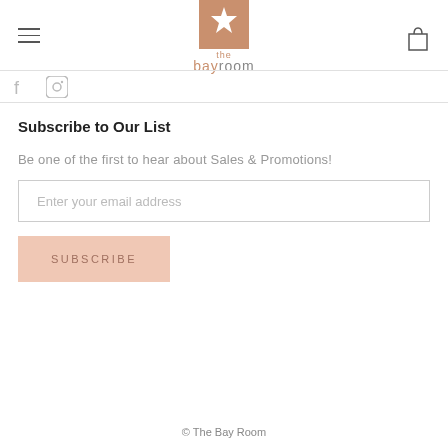[Figure (logo): The Bay Room logo with a terracotta/tan square containing a white starfish, and 'the bayroom' text below]
Subscribe to Our List
Be one of the first to hear about Sales & Promotions!
Enter your email address
SUBSCRIBE
© The Bay Room